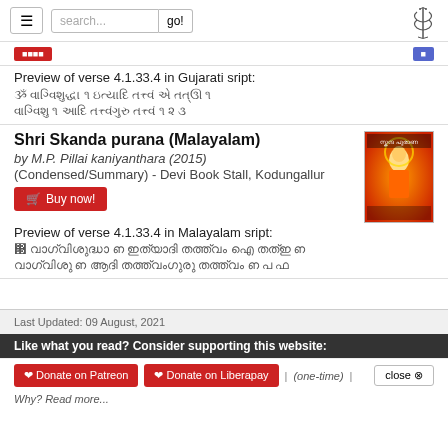Navigation with hamburger menu, search box, go button, and caduceus logo
Preview of verse 4.1.33.4 in Gujarati sript:
[Gujarati script lines]
Shri Skanda purana (Malayalam)
by M.P. Pillai kaniyanthara (2015)
(Condensed/Summary) - Devi Book Stall, Kodungallur
Buy now!
[Figure (photo): Book cover of Shri Skanda Purana in Malayalam, showing a deity figure on an orange/red background with Malayalam title text]
Preview of verse 4.1.33.4 in Malayalam sript:
[Malayalam script lines]
Last Updated: 09 August, 2021
Like what you read? Consider supporting this website:
Donate on Patreon | Donate on Liberapay | (one-time) | close
Why? Read more...